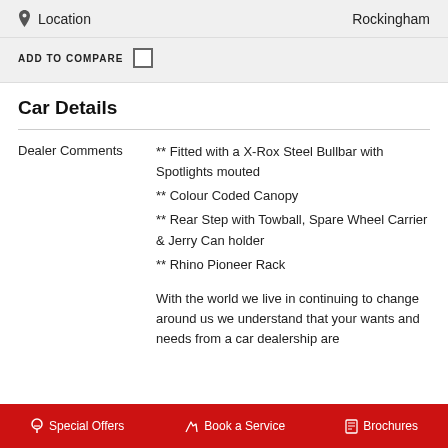Location    Rockingham
ADD TO COMPARE
Car Details
Dealer Comments
** Fitted with a X-Rox Steel Bullbar with Spotlights mouted
** Colour Coded Canopy
** Rear Step with Towball, Spare Wheel Carrier & Jerry Can holder
** Rhino Pioneer Rack
With the world we live in continuing to change around us we understand that your wants and needs from a car dealership are
$ Special Offers    Book a Service    Brochures